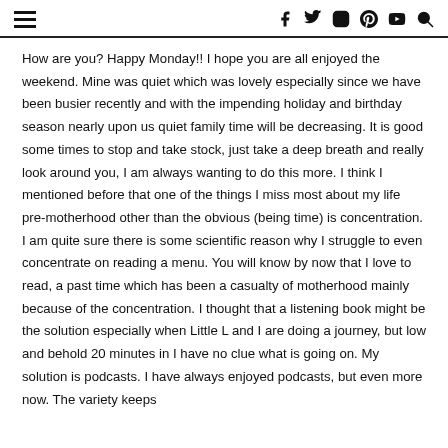navigation bar with hamburger menu and social icons (facebook, twitter, instagram, pinterest, youtube, search)
How are you? Happy Monday!! I hope you are all enjoyed the weekend. Mine was quiet which was lovely especially since we have been busier recently and with the impending holiday and birthday season nearly upon us quiet family time will be decreasing. It is good some times to stop and take stock, just take a deep breath and really look around you, I am always wanting to do this more. I think I mentioned before that one of the things I miss most about my life pre-motherhood other than the obvious (being time) is concentration. I am quite sure there is some scientific reason why I struggle to even concentrate on reading a menu. You will know by now that I love to read, a past time which has been a casualty of motherhood mainly because of the concentration. I thought that a listening book might be the solution especially when Little L and I are doing a journey, but low and behold 20 minutes in I have no clue what is going on. My solution is podcasts. I have always enjoyed podcasts, but even more now. The variety keeps